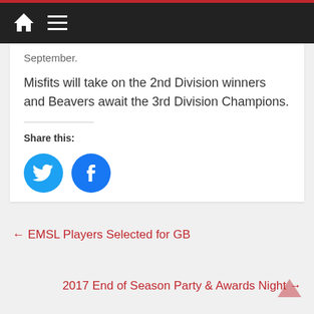Navigation header with home and menu icons
September.
Misfits will take on the 2nd Division winners and Beavers await the 3rd Division Champions.
Share this:
[Figure (illustration): Twitter and Facebook circular share buttons in blue]
← EMSL Players Selected for GB
2017 End of Season Party & Awards Night →